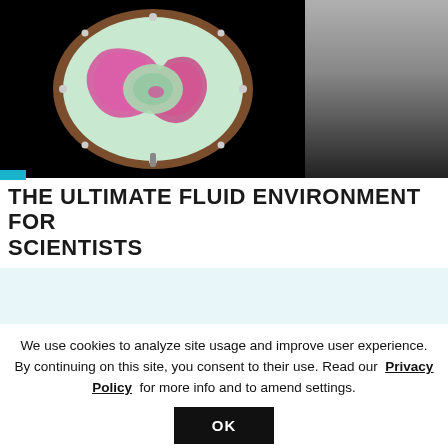[Figure (photo): A circular drum-like experimental apparatus viewed from above, showing swirling pink/magenta dye patterns on a light green/white background, set against a black background. Right side shows a gray gradient panel.]
THE ULTIMATE FLUID ENVIRONMENT FOR SCIENTISTS
We use cookies to analyze site usage and improve user experience. By continuing on this site, you consent to their use. Read our Privacy Policy for more info and to amend settings. OK